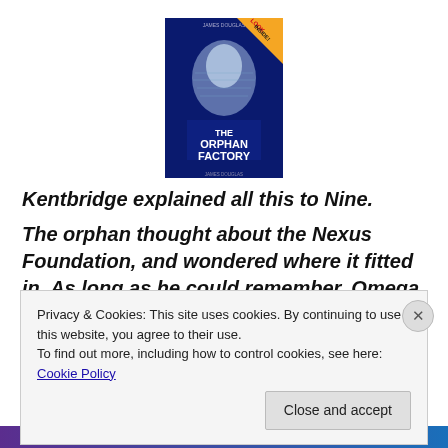[Figure (illustration): Book cover of 'The Orphan Factory' with a 'Look Inside!' banner in the top right corner. The cover shows a ghostly figure against a dark blue background. Title text reads 'THE ORPHAN FACTORY'.]
Kentbridge explained all this to Nine.
The orphan thought about the Nexus Foundation, and wondered where it fitted in. As long as he could remember, Omega had been fighting or at least competing with Nexus, and he'd always wondered
Privacy & Cookies: This site uses cookies. By continuing to use this website, you agree to their use.
To find out more, including how to control cookies, see here: Cookie Policy
Close and accept